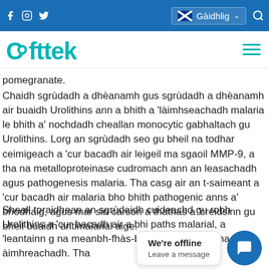Cofttek website header with social icons (Facebook, Instagram, Twitter), Gàidhlig language selector, and search icon
[Figure (logo): Cofttek logo in teal/cyan color with a circular dot replacing the 'o']
pomegranate.
Chaidh sgrùdadh a dhèanamh gus sgrùdadh a dhèanamh air buaidh Urolithins ann a bhith a 'làimhseachadh malaria le bhith a' nochdadh cheallan monocytic gabhaltach gu Urolithins. Lorg an sgrùdadh seo gu bheil na todhar ceimigeach a 'cur bacadh air leigeil ma sgaoil MMP-9, a tha na metalloproteinase cudromach ann an leasachadh agus pathogenesis malaria. Tha casg air an t-saimeant a 'cur bacadh air malaria bho bhith pathogenic anns a' bhodhaig, agus mar sin carson a thathas a 'creidsinn gu bheil buaidh antimalarial aige.
Sheall toraidhean an sgrùdaidh cuideachd gu robh Urolithins a 'cur bacadh air a bhi... path...s malarial, a 'leantainn ... na... meanbh-fhàs-bheairtean gabhaltacha àimhreachadh. Tha
We're offline
Leave a message